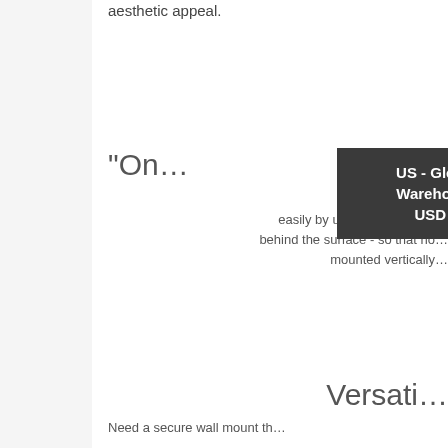aesthetic appeal.
"On…
The R… easily by using the invisible… behind the surface - so that no… mounted vertically…
[Figure (infographic): Dark tooltip overlay showing 'US - Global Warehouse USD $' with a house/warehouse icon]
Versati…
Need a secure wall mount th…